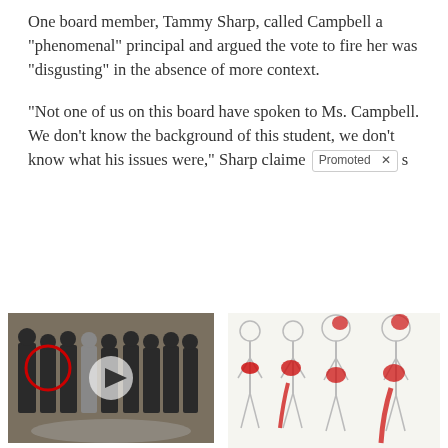One board member, Tammy Sharp, called Campbell a “phenomenal” principal and argued the vote to fire her was “disgusting” in the absence of more context.
“Not one of us on this board have spoken to Ms. Campbell. We don’t know the background of this student, we don’t know what his issues were,” Sharp claime [Promoted ×] s
[Figure (screenshot): Promoted advertisement section with two sponsored content boxes: Left ad shows a video thumbnail of people in suits with CIA logo, titled 'Biden Probably Wants This Video Destroyed — Massive Currency Upheaval Has Started' with 111,184 engagements. Right ad shows medical illustration of sciatic nerve pain on human figures, titled 'Suffering From Chronic Sciatic Nerve Pain? Here’s A Secret You Need To Know' with 77,767 engagements.]